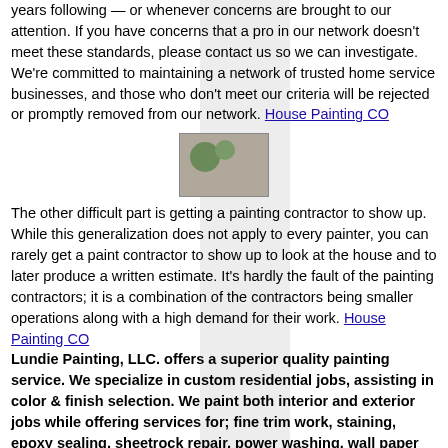years following — or whenever concerns are brought to our attention. If you have concerns that a pro in our network doesn't meet these standards, please contact us so we can investigate. We're committed to maintaining a network of trusted home service businesses, and those who don't meet our criteria will be rejected or promptly removed from our network. House Painting CO
[Figure (photo): Small photo thumbnail showing foliage/flowers]
The other difficult part is getting a painting contractor to show up. While this generalization does not apply to every painter, you can rarely get a paint contractor to show up to look at the house and to later produce a written estimate. It's hardly the fault of the painting contractors; it is a combination of the contractors being smaller operations along with a high demand for their work. House Painting CO Lundie Painting, LLC. offers a superior quality painting service. We specialize in custom residential jobs, assisting in color & finish selection. We paint both interior and exterior jobs while offering services for; fine trim work, staining, epoxy sealing, sheetrock repair, power washing, wall paper removal, and popcorn ceiling removal. With 6 years in the business there is not much